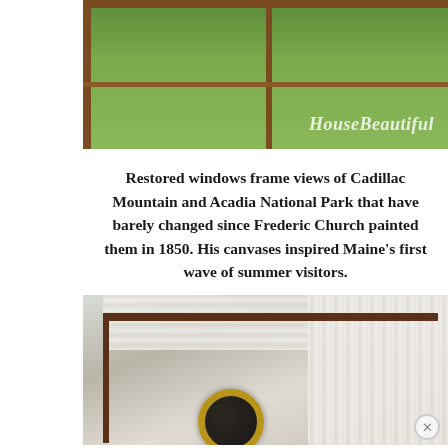[Figure (photo): View through wooden-framed windows showing green grass and landscape of Cadillac Mountain area; HouseBeautiful watermark in lower right corner]
Restored windows frame views of Cadillac Mountain and Acadia National Park that have barely changed since Frederic Church painted them in 1850. His canvases inspired Maine’s first wave of summer visitors.
[Figure (photo): Interior photo showing a canopy bed with white gathered curtains attached to a dark wooden frame, and a gold-framed circular mirror visible in the lower portion]